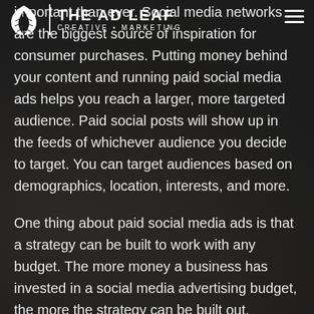[Figure (logo): The Ad Leaf logo: a white leaf icon, vertical divider line, brand name THE AD LEAF in bold white uppercase, and tagline CREATIVE • MARKETING below]
important than ever. Social media networks are the biggest source of inspiration for consumer purchases. Putting money behind your content and running paid social media ads helps you reach a larger, more targeted audience. Paid social posts will show up in the feeds of whichever audience you decide to target. You can target audiences based on demographics, location, interests, and more.
One thing about paid social media ads is that a strategy can be built to work with any budget. The more money a business has invested in a social media advertising budget, the more the strategy can be built out. Businesses with lower budgets can still be sure to get results, it just